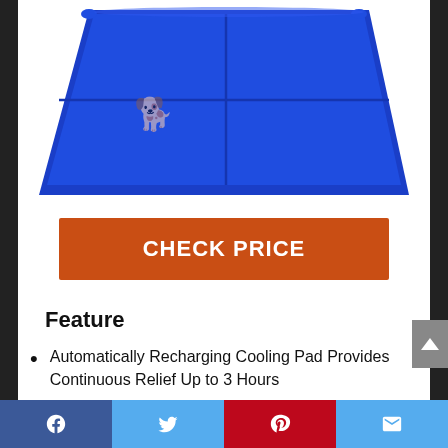[Figure (photo): Blue pet cooling mat/pad shown from above at an angle, with a decorative dog logo on the surface. The mat has a grid/fold pattern.]
CHECK PRICE
Feature
Automatically Recharging Cooling Pad Provides Continuous Relief Up to 3 Hours
Versatile Mat Design Soothes &
Social share bar: Facebook, Twitter, Pinterest, Email